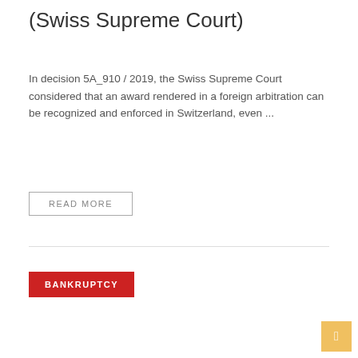(Swiss Supreme Court)
In decision 5A_910 / 2019, the Swiss Supreme Court considered that an award rendered in a foreign arbitration can be recognized and enforced in Switzerland, even ...
READ MORE
BANKRUPTCY